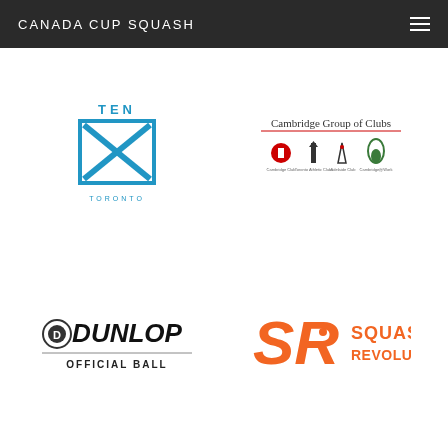CANADA CUP SQUASH
[Figure (logo): TEN Toronto logo — blue square with X shape and text TEN above, TORONTO below]
[Figure (logo): Cambridge Group of Clubs logo — text with four club icons below]
[Figure (logo): Dunlop Official Ball logo — black text with circular D emblem]
[Figure (logo): Squash Revolution logo — orange SR initials with text SQUASH REVOLUTION]